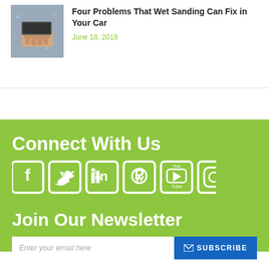[Figure (photo): A hand wet sanding a car surface with sandpaper]
Four Problems That Wet Sanding Can Fix in Your Car
June 18, 2018
Connect With Us
[Figure (infographic): Social media icons: Facebook, Twitter, LinkedIn, Pinterest, YouTube, Instagram]
Join Our Newsletter
Enter your email here
SUBSCRIBE